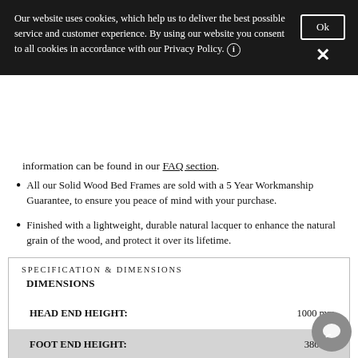Our website uses cookies, which help us to deliver the best possible service and customer experience. By using our website you consent to all cookies in accordance with our Privacy Policy.
information can be found in our FAQ section.
All our Solid Wood Bed Frames are sold with a 5 Year Workmanship Guarantee, to ensure you peace of mind with your purchase.
Finished with a lightweight, durable natural lacquer to enhance the natural grain of the wood, and protect it over its lifetime.
SPECIFICATION & DIMENSIONS
DIMENSIONS
| Specification | Value |
| --- | --- |
| HEAD END HEIGHT: | 1000mm |
| FOOT END HEIGHT: | 380mm |
| OVERALL WIDTH: | 1640mm |
| OVERALL LENGTH: | 2200mm |